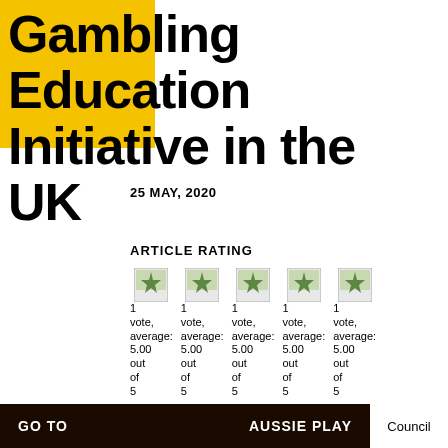Gambling Education Initiative in the UK
25 MAY, 2020
ARTICLE RATING
[Figure (other): Five star rating icons showing 1 vote, average: 5.00 out of 5 each]
GO TO   AUSSIE PLAY   Council